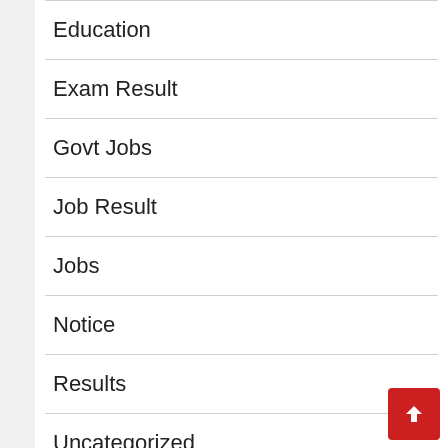Education
Exam Result
Govt Jobs
Job Result
Jobs
Notice
Results
Uncategorized